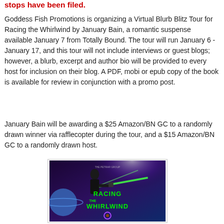stops have been filed.
Goddess Fish Promotions is organizing a Virtual Blurb Blitz Tour for Racing the Whirlwind by January Bain, a romantic suspense available January 7 from Totally Bound. The tour will run January 6 - January 17, and this tour will not include interviews or guest blogs; however, a blurb, excerpt and author bio will be provided to every host for inclusion on their blog. A PDF, mobi or epub copy of the book is available for review in conjunction with a promo post.
January Bain will be awarding a $25 Amazon/BN GC to a randomly drawn winner via rafflecopter during the tour, and a $15 Amazon/BN GC to a randomly drawn host.
[Figure (illustration): Book cover for Racing the Whirlwind showing a man holding a gun with green energy effects, purple planet, and dramatic background. Title text in green reads RACING THE WHIRLWIND.]